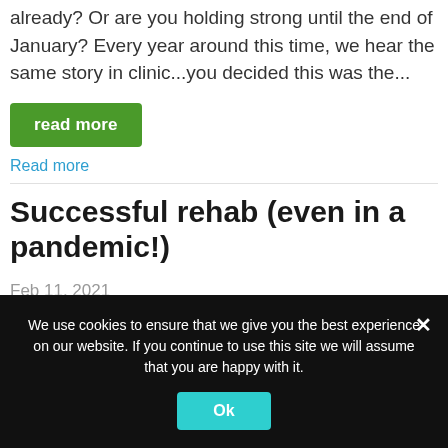already? Or are you holding strong until the end of January? Every year around this time, we hear the same story in clinic...you decided this was the...
read more
Read more
Successful rehab (even in a pandemic!)
Feb 11, 2021
"No matter who you are, rehab is hard. You're out of the team environment and
We use cookies to ensure that we give you the best experience on our website. If you continue to use this site we will assume that you are happy with it.
Ok